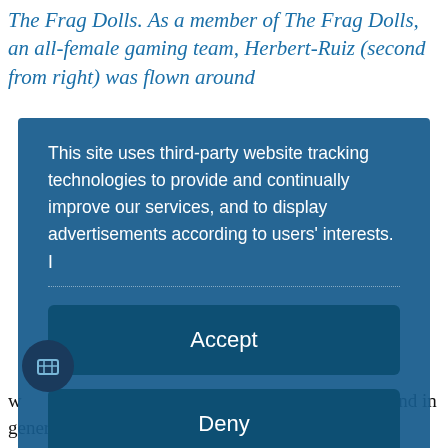The Frag Dolls. As a member of The Frag Dolls, an all-female gaming team, Herbert-Ruiz (second from right) was flown around
[Figure (screenshot): Cookie consent overlay dialog with blue background containing 'This site uses third-party website tracking technologies to provide and continually improve our services, and to display advertisements according to users' interests. I' followed by a dotted separator, then Accept button, Deny button, a 'more' link, and 'Powered by usercentrics & eRecht24' footer. A small cookie settings icon button appears at bottom left.]
w[cookie icon]o dedicate that much time – that's hard to find in general," she says.